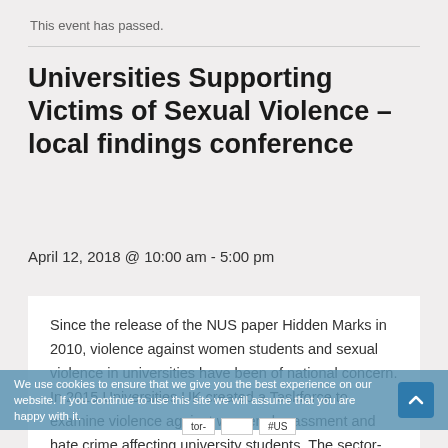This event has passed.
Universities Supporting Victims of Sexual Violence – local findings conference
April 12, 2018 @ 10:00 am - 5:00 pm
Since the release of the NUS paper Hidden Marks in 2010, violence against women students and sexual violence in universities have been of national concern. In 2015 Universities UK created a Taskforce to examine violence against women, harassment and hate crime affecting university students. The sector-leading #USVreact research project, comprising 7 European countries, aimed to
We use cookies to ensure that we give you the best experience on our website. If you continue to use this site we will assume that you are happy with it.